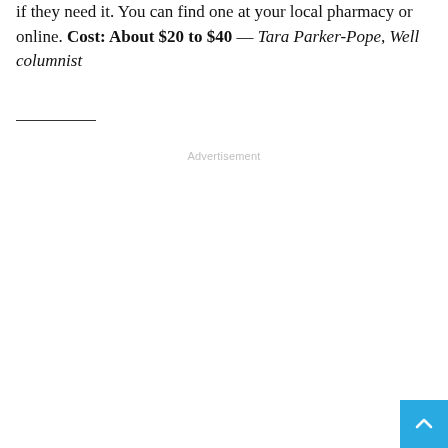if they need it. You can find one at your local pharmacy or online. Cost: About $20 to $40 — Tara Parker-Pope, Well columnist
[Figure (other): Advertisement placeholder area with centered 'Advertisement' label text in light gray]